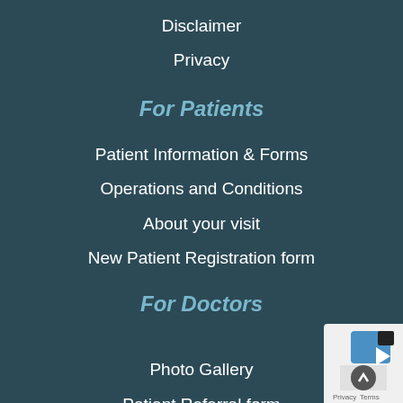Disclaimer
Privacy
For Patients
Patient Information & Forms
Operations and Conditions
About your visit
New Patient Registration form
For Doctors
Photo Gallery
Patient Referral form